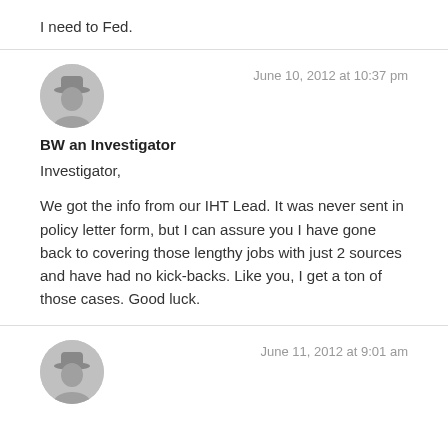I need to Fed.
June 10, 2012 at 10:37 pm
[Figure (illustration): Generic user avatar silhouette of a person wearing a hat, gray circular icon]
BW an Investigator
Investigator,

We got the info from our IHT Lead. It was never sent in policy letter form, but I can assure you I have gone back to covering those lengthy jobs with just 2 sources and have had no kick-backs. Like you, I get a ton of those cases. Good luck.
June 11, 2012 at 9:01 am
[Figure (illustration): Generic user avatar silhouette of a person wearing a hat, gray circular icon]